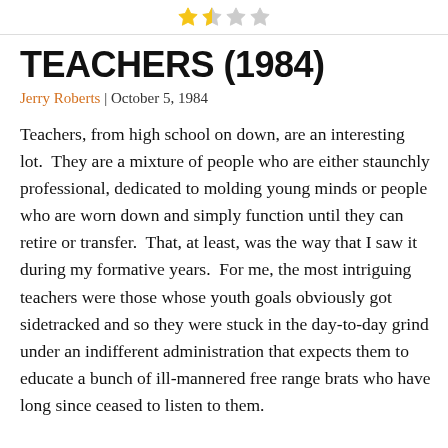[Figure (other): Star rating display showing approximately 1.5 out of 4 stars — one filled gold star, one half star, two empty stars]
TEACHERS (1984)
Jerry Roberts | October 5, 1984
Teachers, from high school on down, are an interesting lot.  They are a mixture of people who are either staunchly professional, dedicated to molding young minds or people who are worn down and simply function until they can retire or transfer.  That, at least, was the way that I saw it during my formative years.  For me, the most intriguing teachers were those whose youth goals obviously got sidetracked and so they were stuck in the day-to-day grind under an indifferent administration that expects them to educate a bunch of ill-mannered free range brats who have long since ceased to listen to them.